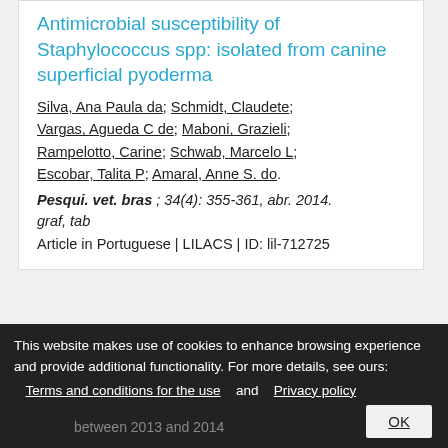Antimicrobial susceptibility of Staphylococcus spp: isolated from canine superficial pyoderma
Silva, Ana Paula da; Schmidt, Claudete; Vargas, Agueda C de; Maboni, Grazieli; Rampelotto, Carine; Schwab, Marcelo L; Escobar, Talita P; Amaral, Anne S. do.
Pesqui. vet. bras ; 34(4): 355-361, abr. 2014. graf, tab
Article in Portuguese | LILACS | ID: lil-712725
Prevalence and characteristics of
This website makes use of cookies to enhance browsing experience and provide additional functionality. For more details, see ours: Terms and conditions for the use and Privacy policy